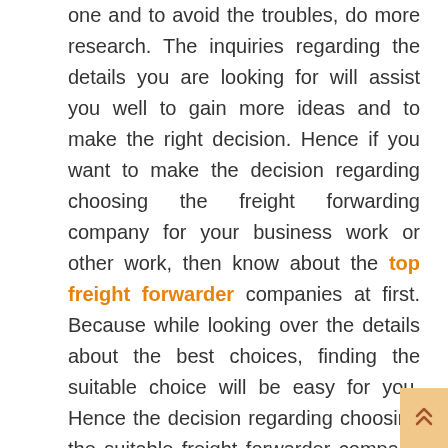one and to avoid the troubles, do more research. The inquiries regarding the details you are looking for will assist you well to gain more ideas and to make the right decision. Hence if you want to make the decision regarding choosing the freight forwarding company for your business work or other work, then know about the top freight forwarder companies at first. Because while looking over the details about the best choices, finding the suitable choice will be easy for you. Hence the decision regarding choosing the suitable freight forwarder company will be best while deciding after checking the important details about the companies in the right place.